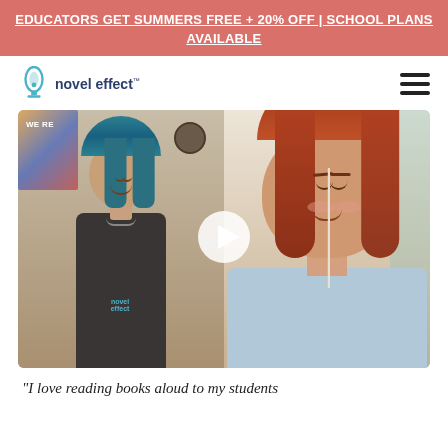EDUCATORS GET SUMMERS FREE + 20% OFF | SCHOOL PLANS AVAILABLE
[Figure (logo): Novel Effect logo with microphone icon and wordmark]
[Figure (screenshot): Video thumbnail showing two women: one with blue hair wearing a Novel Effect t-shirt (left) and one with red hair wearing earbuds (right). A play button is centered on the image. Text 'WE RE' appears in the top left corner.]
“I love reading books aloud to my students